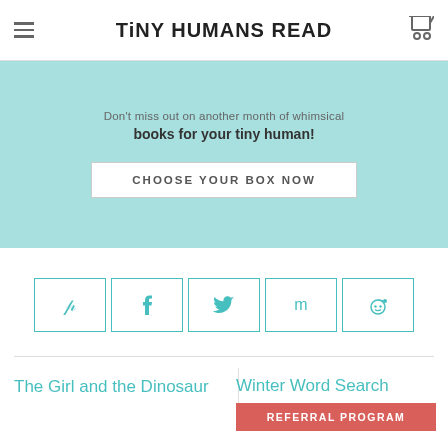Tiny Humans Read
Don't miss out on another month of whimsical books for your tiny human!
CHOOSE YOUR BOX NOW
[Figure (infographic): Social share buttons: Pinterest, Facebook, Twitter, Mix, Reddit]
The Girl and the Dinosaur
Winter Word Search
REFERRAL PROGRAM